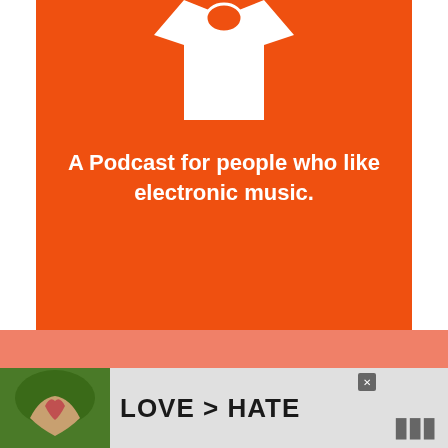[Figure (illustration): Orange rectangle banner with white t-shirt icon at top and bold white text reading 'A Podcast for people who like electronic music.']
A Podcast for people who like electronic music.
Staff Favourites
[Figure (photo): Black and white photograph of an indoor venue/store ceiling with signage visible including 'SALAD BAR']
[Figure (photo): Advertisement banner showing hands forming a heart shape with green foliage background and text 'LOVE > HATE' with a close button]